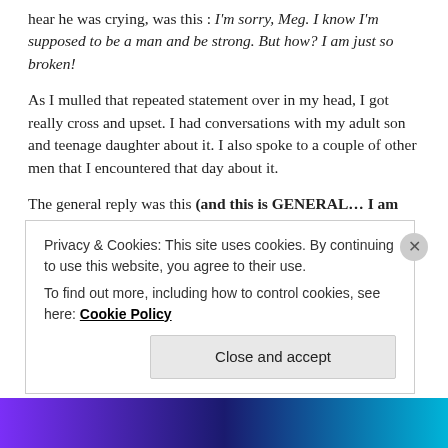hear he was crying, was this : I'm sorry, Meg. I know I'm supposed to be a man and be strong. But how? I am just so broken!
As I mulled that repeated statement over in my head, I got really cross and upset. I had conversations with my adult son and teenage daughter about it. I also spoke to a couple of other men that I encountered that day about it.
The general reply was this (and this is GENERAL… I am not saying that everyone thinks this way or is this way, so this is in no way a personal attack on 'every person in society'):
Privacy & Cookies: This site uses cookies. By continuing to use this website, you agree to their use. To find out more, including how to control cookies, see here: Cookie Policy
Close and accept